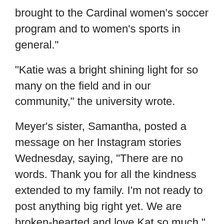brought to the Cardinal women's soccer program and to women's sports in general."
"Katie was a bright shining light for so many on the field and in our community," the university wrote.
Meyer's sister, Samantha, posted a message on her Instagram stories Wednesday, saying, "There are no words. Thank you for all the kindness extended to my family. I'm not ready to post anything big right yet. We are broken-hearted and love Kat so much."
Samantha shared a link to a GoFundMe page collecting donations for a memorial fund for Meyer.
Meyer's fierce competitiveness helped Stanford win its third NCAA women's soccer championship in 2019.